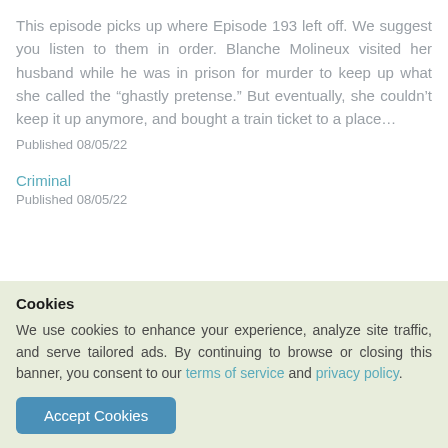This episode picks up where Episode 193 left off. We suggest you listen to them in order. Blanche Molineux visited her husband while he was in prison for murder to keep up what she called the “ghastly pretense.” But eventually, she couldn’t keep it up anymore, and bought a train ticket to a place…
Published 08/05/22
Criminal
Published 08/05/22
Cookies
We use cookies to enhance your experience, analyze site traffic, and serve tailored ads. By continuing to browse or closing this banner, you consent to our terms of service and privacy policy.
Accept Cookies